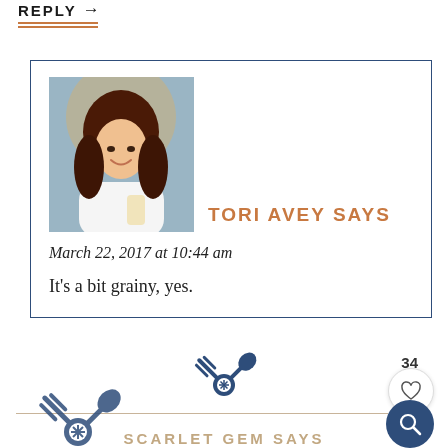REPLY →
TORI AVEY SAYS
March 22, 2017 at 10:44 am
It's a bit grainy, yes.
[Figure (illustration): Decorative crossed fork and spoon icon with snowflake center, dark blue]
34
[Figure (illustration): Heart icon inside white circle button]
[Figure (illustration): Search magnifier icon inside dark blue circle button]
[Figure (illustration): Larger decorative crossed fork and spoon icon, dark blue, bottom left]
SCARLET GEM SAYS